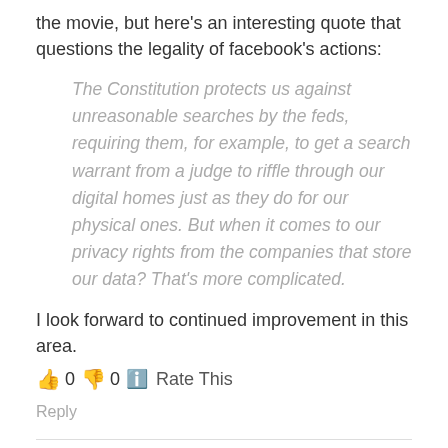the movie, but here's an interesting quote that questions the legality of facebook's actions:
The Constitution protects us against unreasonable searches by the feds, requiring them, for example, to get a search warrant from a judge to riffle through our digital homes just as they do for our physical ones. But when it comes to our privacy rights from the companies that store our data? That's more complicated.
I look forward to continued improvement in this area.
👍 0 👎 0 ℹ Rate This
Reply
@hackerkepzes   July 9, 2012 at 2:09 am